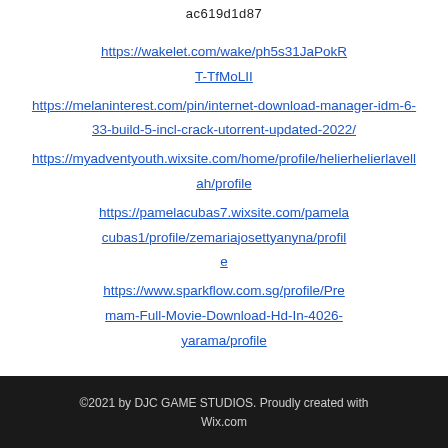ac619d1d87
https://wakelet.com/wake/ph5s31JaPokRT-TfMoLII
https://melaninterest.com/pin/internet-download-manager-idm-6-33-build-5-incl-crack-utorrent-updated-2022/
https://myadventyouth.wixsite.com/home/profile/helierhelierlavellah/profile
https://pamelacubas7.wixsite.com/pamelacubas1/profile/zemariajosettyanyna/profile
https://www.sparkflow.com.sg/profile/Premam-Full-Movie-Download-Hd-In-4026-yarama/profile
©2021 by DJC GAME STUDIOS. Proudly created with Wix.com